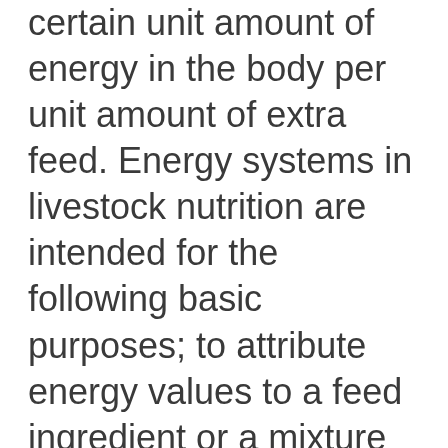certain unit amount of energy in the body per unit amount of extra feed. Energy systems in livestock nutrition are intended for the following basic purposes; to attribute energy values to a feed ingredient or a mixture of feed ingredients that could be used to estimate the